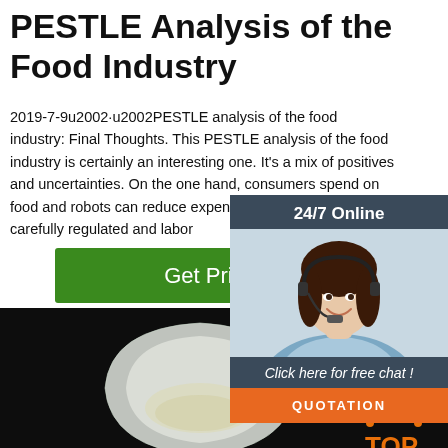PESTLE Analysis of the Food Industry
2019-7-9u2002·u2002PESTLE analysis of the food industry: Final Thoughts. This PESTLE analysis of the food industry is certainly an interesting one. It's a mix of positives and uncertainties. On the one hand, consumers spend on food and robots can reduce expenses. hand, the space is carefully regulated and labor
[Figure (photo): Customer service representative with headset, 24/7 Online chat widget with 'Click here for free chat!' and QUOTATION button]
[Figure (photo): Dark background photo showing a white triangular/leaf-shaped object containing powder or food substance, with orange TOP logo in bottom right]
Get Price